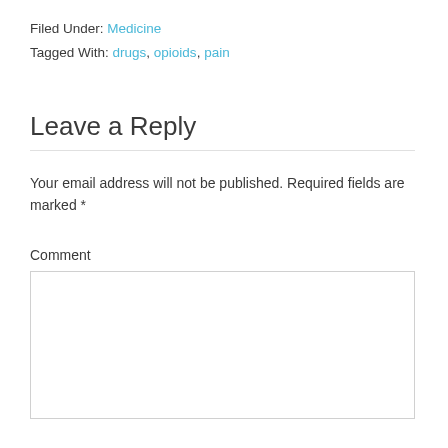Filed Under: Medicine
Tagged With: drugs, opioids, pain
Leave a Reply
Your email address will not be published. Required fields are marked *
Comment